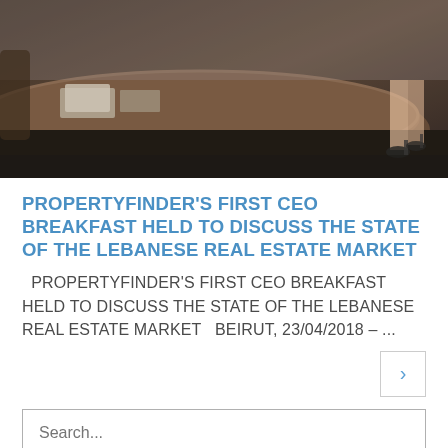[Figure (photo): Photo of a conference room with a round wooden table and chairs; a person in heels is partially visible in the background.]
PROPERTYFINDER'S FIRST CEO BREAKFAST HELD TO DISCUSS THE STATE OF THE LEBANESE REAL ESTATE MARKET
PROPERTYFINDER'S FIRST CEO BREAKFAST HELD TO DISCUSS THE STATE OF THE LEBANESE REAL ESTATE MARKET   Beirut, 23/04/2018 – ...
›
Search...
POPULAR POSTS